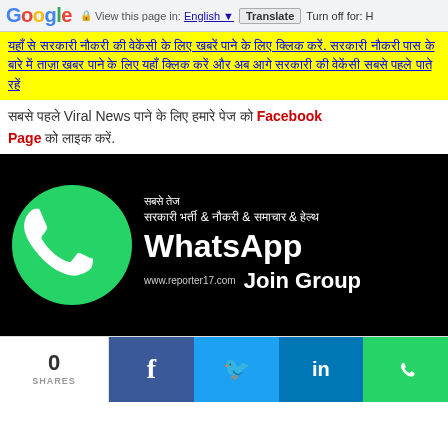Google | View this page in: English | Translate | Turn off for: H
Hindi text paragraph in yellow background with blue underlined text
Hindi text about Viral News with Facebook Page link
[Figure (screenshot): WhatsApp Join Group banner with green WhatsApp logo on black background. Text reads: सबसे तेज, सरकारी भर्ती & नौकरी & समाचार & हेल्थ, WhatsApp, www.reporter17.com, Join Group]
0 SHARES | Facebook | Twitter | LinkedIn | WhatsApp social share bar